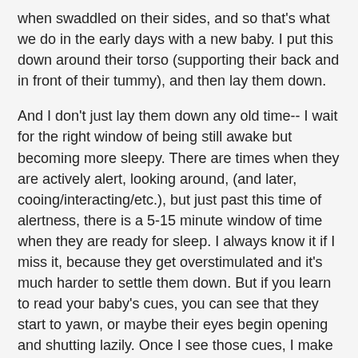when swaddled on their sides, and so that's what we do in the early days with a new baby. I put this down around their torso (supporting their back and in front of their tummy), and then lay them down.
And I don't just lay them down any old time-- I wait for the right window of being still awake but becoming more sleepy. There are times when they are actively alert, looking around, (and later, cooing/interacting/etc.), but just past this time of alertness, there is a 5-15 minute window of time when they are ready for sleep. I always know it if I miss it, because they get overstimulated and it's much harder to settle them down. But if you learn to read your baby's cues, you can see that they start to yawn, or maybe their eyes begin opening and shutting lazily. Once I see those cues, I make sure they don't need a new diaper, get them swaddled, help them take their pacifier (if they use one), and put them down gently -- with a soft "night-night".
So that's the method I used today to try to help Moses get in the habit of falling asleep on his own, in his own bed. Two times out of three, it happened naturally, without any